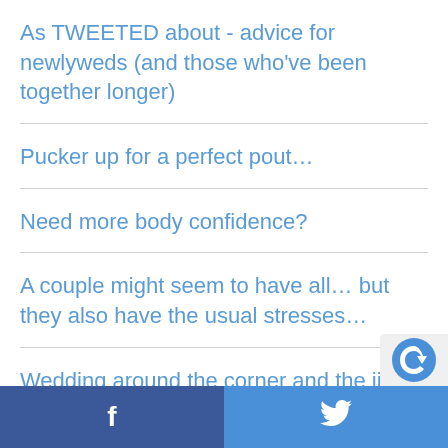As TWEETED about - advice for newlyweds (and those who've been together longer)
Pucker up for a perfect pout…
Need more body confidence?
A couple might seem to have all… but they also have the usual stresses…
Wedding around the corner and the jitters have set in?
How much do you pretend to be someone you're not?
f  [Twitter bird icon]